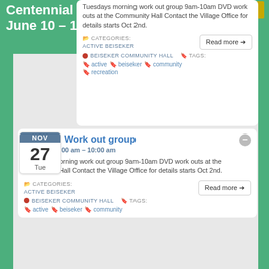Centennial Celebrations
June 10 – 12, 2022
Register Now!
Tuesdays morning work out group 9am-10am DVD work outs at the Community Hall Contact the Village Office for details starts Oct 2nd.
CATEGORIES:
ACTIVE BEISEKER
BEISEKER COMMUNITY HALL  TAGS:
active  beiseker  community  recreation
Read more →
Morning Work out group
Nov 27 @ 9:00 am – 10:00 am
Tuesdays morning work out group 9am-10am DVD work outs at the Community Hall Contact the Village Office for details starts Oct 2nd.
CATEGORIES:
ACTIVE BEISEKER
BEISEKER COMMUNITY HALL  TAGS:
active  beiseker  community
Read more →